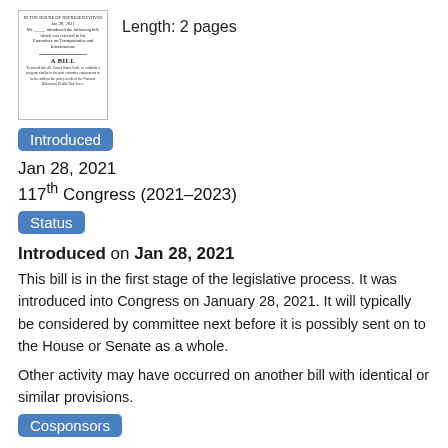[Figure (illustration): Thumbnail image of a bill document with small header text, a horizontal line, 'A BILL' title in bold, and body text below]
Length: 2 pages
Introduced
Jan 28, 2021
117th Congress (2021–2023)
Status
Introduced on Jan 28, 2021
This bill is in the first stage of the legislative process. It was introduced into Congress on January 28, 2021. It will typically be considered by committee next before it is possibly sent on to the House or Senate as a whole.
Other activity may have occurred on another bill with identical or similar provisions.
Cosponsors
1 Cosponsor (1 Democrat)